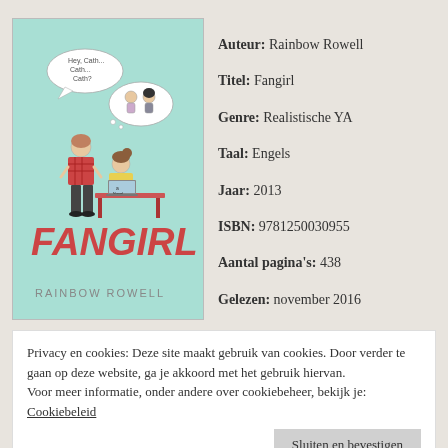[Figure (illustration): Book cover of Fangirl by Rainbow Rowell. Mint/teal background. Two illustrated characters: a standing girl in red plaid and a seated girl at a desk with a laptop. Speech bubble says 'Hey, Cath... Cath... Cath?' A thought bubble shows two fantasy characters. Title 'FANGIRL' in large red letters. Author name 'RAINBOW ROWELL' at the bottom.]
Auteur: Rainbow Rowell
Titel: Fangirl
Genre: Realistische YA
Taal: Engels
Jaar: 2013
ISBN: 9781250030955
Aantal pagina's: 438
Gelezen: november 2016
♥♥♥♥
Privacy en cookies: Deze site maakt gebruik van cookies. Door verder te gaan op deze website, ga je akkoord met het gebruik hiervan.
Voor meer informatie, onder andere over cookiebeheer, bekijk je: Cookiebeleid
Sluiten en bevestigen
Wren, ensconced themselves in the Simon Snow series when